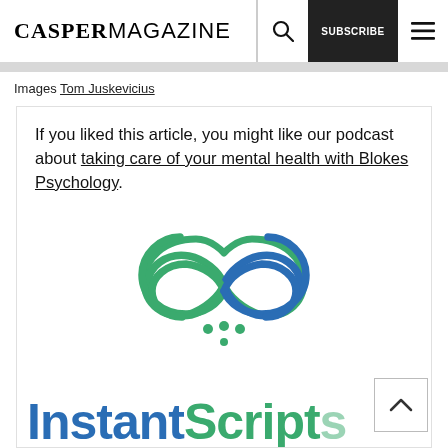CASPERMAGAZINE — navigation bar with search, subscribe, and menu
Images Tom Juskevicius
If you liked this article, you might like our podcast about taking care of your mental health with Blokes Psychology.
[Figure (logo): InstantScripts logo: infinity/heart shape made of two pill capsules, one green and one blue, with dots below, and the text 'InstantScripts' below in blue and green]
InstantScripts